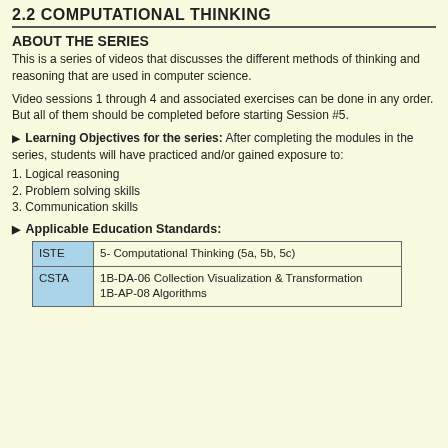2.2 COMPUTATIONAL THINKING
ABOUT THE SERIES
This is a series of videos that discusses the different methods of thinking and reasoning that are used in computer science.
Video sessions 1 through 4 and associated exercises can be done in any order. But all of them should be completed before starting Session #5.
Learning Objectives for the series: After completing the modules in the series, students will have practiced and/or gained exposure to:
1. Logical reasoning
2. Problem solving skills
3. Communication skills
Applicable Education Standards:
|  |  |
| --- | --- |
| ISTE | 5- Computational Thinking (5a, 5b, 5c) |
| CSTA | 1B-DA-06 Collection Visualization & Transformation
1B-AP-08 Algorithms |